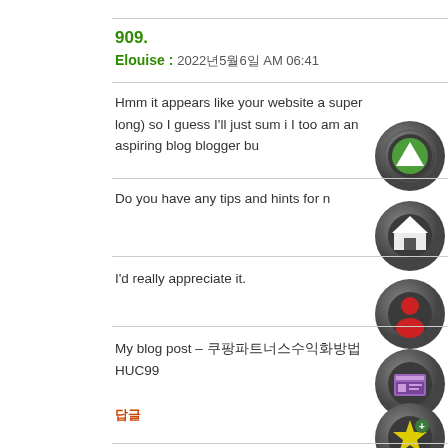909.
Elouise : 2022年5月6日 AM 06:41
Hmm it appears like your website a super long) so I guess I'll just sum i I too am an aspiring blog blogger bu
Do you have any tips and hints for n
I'd really appreciate it.
My blog post – 쿠팡파트너스수익화방법 HUC99
답글